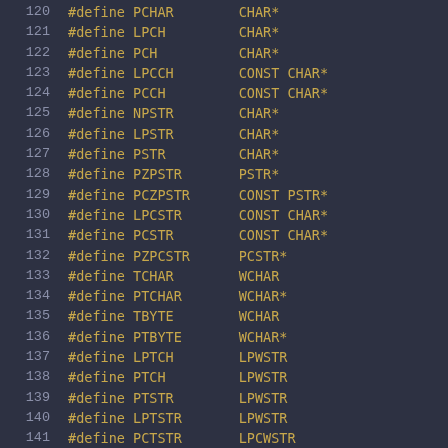121  #define LPCH       CHAR*
122  #define PCH        CHAR*
123  #define LPCCH      CONST CHAR*
124  #define PCCH       CONST CHAR*
125  #define NPSTR      CHAR*
126  #define LPSTR      CHAR*
127  #define PSTR       CHAR*
128  #define PZPSTR     PSTR*
129  #define PCZPSTR    CONST PSTR*
130  #define LPCSTR     CONST CHAR*
131  #define PCSTR      CONST CHAR*
132  #define PZPCSTR    PCSTR*
133  #define TCHAR      WCHAR
134  #define PTCHAR     WCHAR*
135  #define TBYTE      WCHAR
136  #define PTBYTE     WCHAR*
137  #define LPTCH      LPWSTR
138  #define PTCH       LPWSTR
139  #define PTSTR      LPWSTR
140  #define LPTSTR     LPWSTR
141  #define PCTSTR     LPCWSTR
142  #define LPCTSTR    LPCWSTR